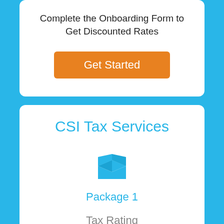Complete the Onboarding Form to Get Discounted Rates
Get Started
CSI Tax Services
[Figure (illustration): An open box icon in sky blue color representing a package]
Package 1
Tax Rating Services